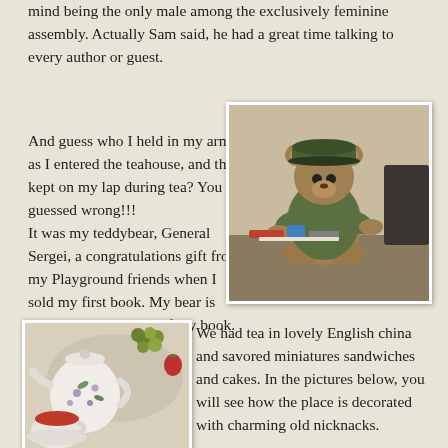mind being the only male among the exclusively feminine assembly. Actually Sam said, he had a great time talking to every author or guest.
And guess who I held in my arms as I entered the teahouse, and then kept on my lap during tea? You guessed wrong!!! It was my teddybear, General Sergei, a congratulations gift from my Playground friends when I sold my first book. My bear is dressed like the hero of my book.
[Figure (photo): A teddy bear dressed in a military/army style green uniform and cap, sitting at a desk with various items around it.]
[Figure (photo): A tea setting with a white floral teapot, a cup of red/pink tea, and grapes on a plate, on a light tablecloth.]
We had tea in lovely English china and savored miniatures sandwiches and cakes. In the pictures below, you will see how the place is decorated with charming old nicknacks.